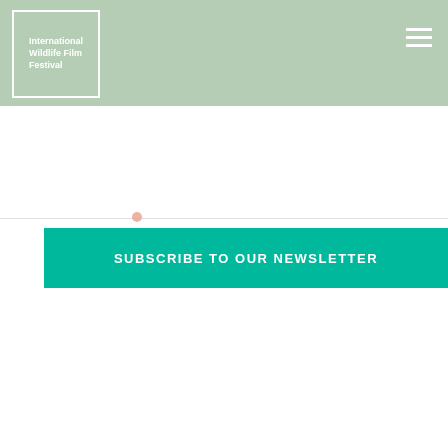International Wildlife Film Festival
SUBSCRIBE TO OUR NEWSLETTER